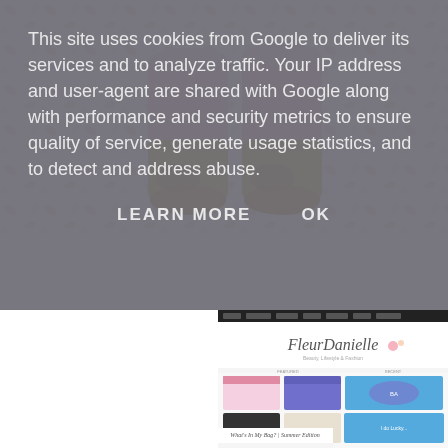[Figure (photo): Two pink and gold cosmetic product bottles/containers placed side by side on a floral pink patterned fabric/background]
This site uses cookies from Google to deliver its services and to analyze traffic. Your IP address and user-agent are shared with Google along with performance and security metrics to ensure quality of service, generate usage statistics, and to detect and address abuse.
LEARN MORE    OK
[Figure (screenshot): Screenshot of a beauty blog website called FleurDanielle featuring blog post thumbnails, navigation bar, and a post title 'What's In My Bag? | Summer Edition']